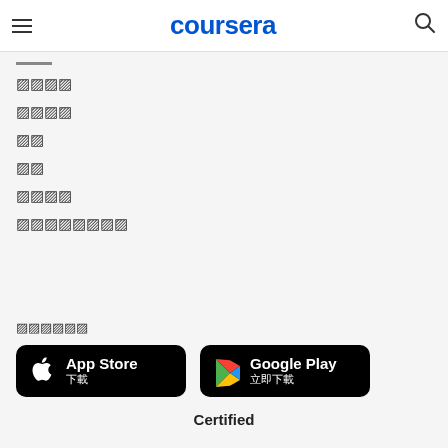coursera
㊙㊙㊙㊙
㊙㊙㊙㊙
㊙㊙
㊙㊙
㊙㊙㊙㊙
㊙㊙㊙㊙㊙㊙㊙㊙
㊙㊙㊙㊙㊙㊙
[Figure (screenshot): App Store download button with Apple logo and Chinese text 下載]
[Figure (screenshot): Google Play download button with Play logo and Chinese text 立即下載]
Certified